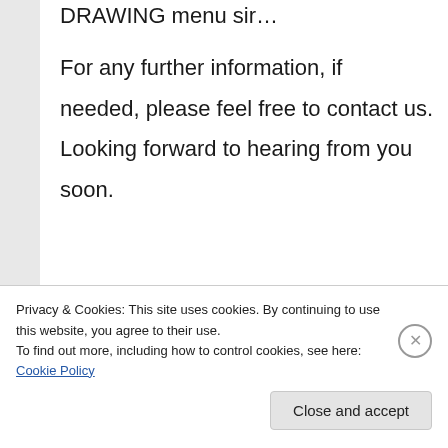DRAWING menu sir…
For any further information, if needed, please feel free to contact us. Looking forward to hearing from you soon.
Kind Regards,
Mani V Pillai
0550538507
Privacy & Cookies: This site uses cookies. By continuing to use this website, you agree to their use.
To find out more, including how to control cookies, see here: Cookie Policy